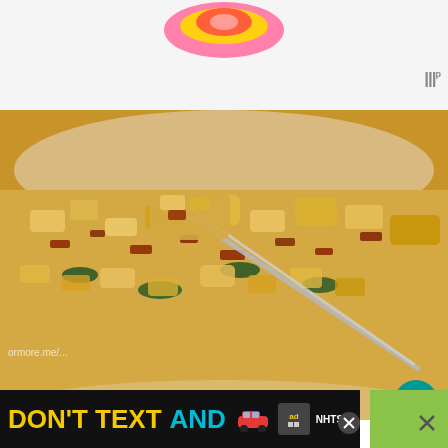[Figure (logo): Colorful donut/swirl logo at top center of page, partially visible]
[Figure (photo): Close-up food photo of scrambled eggs with bacon and greens in a white bowl, fork holding a bite, with heart and share buttons overlaid]
[Figure (infographic): WHAT'S NEXT banner with thumbnail showing Cheesy Bacon and Egg... recipe]
I like to set out some salsa, ketchup and hot sauce...
[Figure (infographic): DON'T TEXT AND [car emoji] ad banner with NHTSA logo and close button]